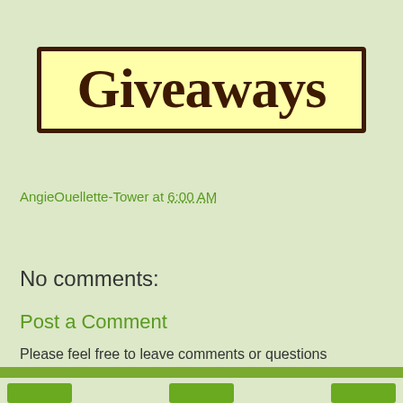[Figure (illustration): Yellow banner with dark brown border containing the word 'Giveaways' in large bold brown font]
AngieOuellette-Tower at 6:00 AM
Share
No comments:
Post a Comment
Please feel free to leave comments or questions (no question is ever stupid) - They will show up on the blog once I have read through them. Thank You.